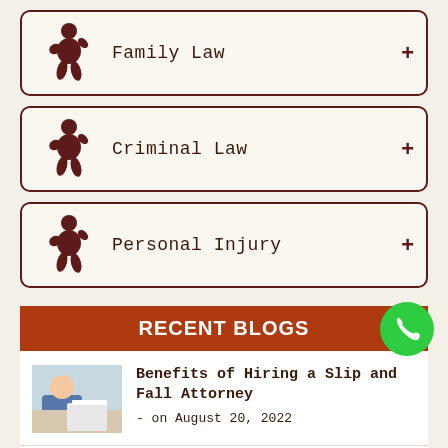Family Law
Criminal Law
Personal Injury
RECENT BLOGS
[Figure (photo): Person sitting at desk looking stressed]
Benefits of Hiring a Slip and Fall Attorney
- on August 20, 2022
[Figure (photo): Thumbnail image partially visible at bottom]
Common Questions About
[Figure (other): Green phone call button]